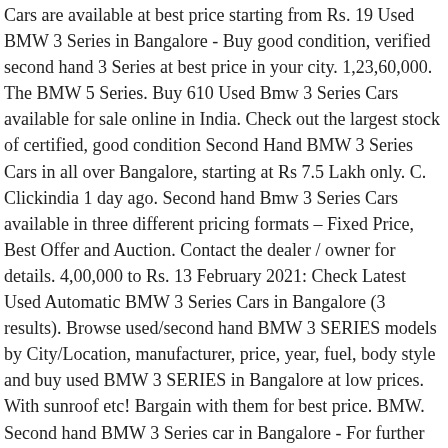Cars are available at best price starting from Rs. 19 Used BMW 3 Series in Bangalore - Buy good condition, verified second hand 3 Series at best price in your city. 1,23,60,000. The BMW 5 Series. Buy 610 Used Bmw 3 Series Cars available for sale online in India. Check out the largest stock of certified, good condition Second Hand BMW 3 Series Cars in all over Bangalore, starting at Rs 7.5 Lakh only. C. Clickindia 1 day ago. Second hand Bmw 3 Series Cars available in three different pricing formats – Fixed Price, Best Offer and Auction. Contact the dealer / owner for details. 4,00,000 to Rs. 13 February 2021: Check Latest Used Automatic BMW 3 Series Cars in Bangalore (3 results). Browse used/second hand BMW 3 SERIES models by City/Location, manufacturer, price, year, fuel, body style and buy used BMW 3 SERIES in Bangalore at low prices. With sunroof etc! Bargain with them for best price. BMW. Second hand BMW 3 Series car in Bangalore - For further details please call. 1; 2; 3; BMW 3 Series 320d Prestige Posted On 14th Jan 2021. Largest